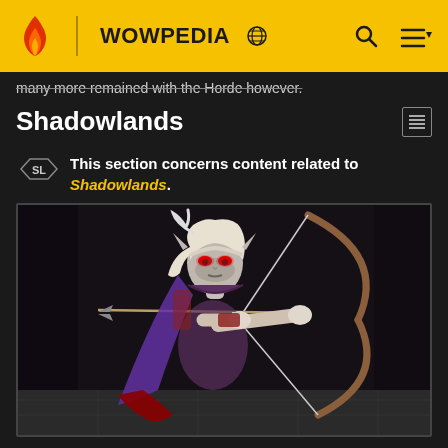WOWPEDIA
many more remained with the Horde however.
Shadowlands
This section concerns content related to Shadowlands.
[Figure (illustration): A World of Warcraft character — a pale elf with white/blonde hair, red glowing eyes, pointed ears, wearing a purple cloak, drawing a large wooden bow with an arrow aimed forward. Dark stone dungeon background.]